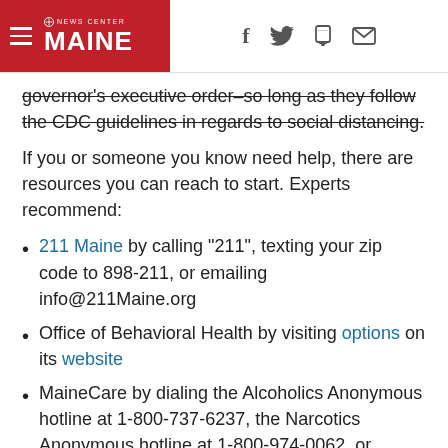NEWS CENTER MAINE header with hamburger menu and social icons (f, Twitter bird, mobile, envelope)
governor's executive order–so long as they follow the CDC guidelines in regards to social distancing.
If you or someone you know need help, there are resources you can reach to start. Experts recommend:
211 Maine by calling "211", texting your zip code to 898-211, or emailing info@211Maine.org
Office of Behavioral Health by visiting options on its website
MaineCare by dialing the Alcoholics Anonymous hotline at 1-800-737-6237, the Narcotics Anonymous hotline at 1-800-974-0062, or researching other hotlines
NEWS CENTER Maine Coronavirus Coverage
RELATED: Two Bangor men dead after motorcycle